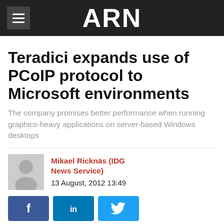ARN
Teradici expands use of PCoIP protocol to Microsoft environments
The company promises better performance when running graphics-heavy applications on server-based Windows desktops
Mikael Ricknäs (IDG News Service)
13 August, 2012 13:49
[Figure (infographic): Social share buttons: Facebook (f), LinkedIn (in), Twitter (bird icon)]
Teradici is expanding the use of its PC-over-IP protocol, which is used to accelerate the performance of server-based